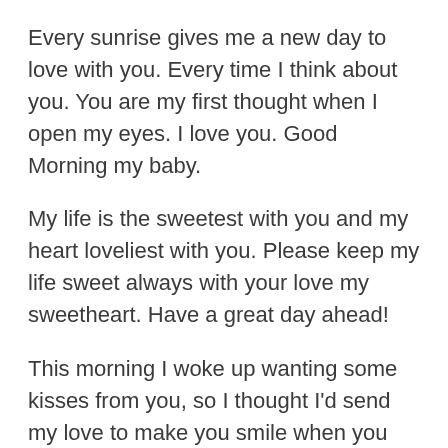Every sunrise gives me a new day to love with you. Every time I think about you. You are my first thought when I open my eyes. I love you. Good Morning my baby.
My life is the sweetest with you and my heart loveliest with you. Please keep my life sweet always with your love my sweetheart. Have a great day ahead!
This morning I woke up wanting some kisses from you, so I thought I'd send my love to make you smile when you wake.
A perfect morning with best wishes so that you have a day full of good things and full of blessings and love!